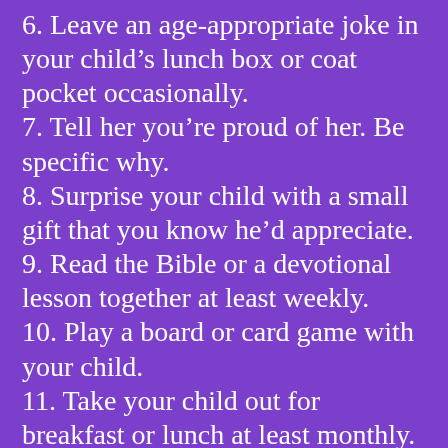6. Leave an age-appropriate joke in your child's lunch box or coat pocket occasionally.
7. Tell her you're proud of her. Be specific why.
8. Surprise your child with a small gift that you know he'd appreciate.
9. Read the Bible or a devotional lesson together at least weekly.
10. Play a board or card game with your child.
11. Take your child out for breakfast or lunch at least monthly.
12. Take off work early to cheer him on at some after-school activity.